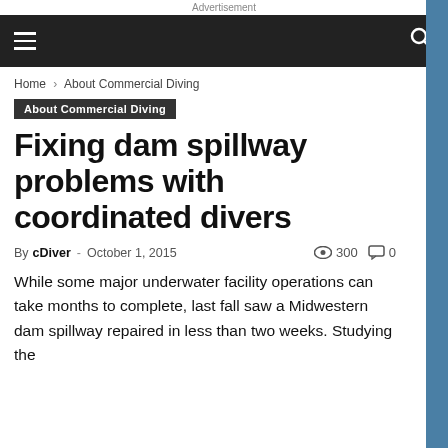Advertisement
Navigation bar with menu and search
Home › About Commercial Diving
About Commercial Diving
Fixing dam spillway problems with coordinated divers
By cDiver - October 1, 2015  👁 300  💬 0
While some major underwater facility operations can take months to complete, last fall saw a Midwestern dam spillway repaired in less than two weeks. Studying the